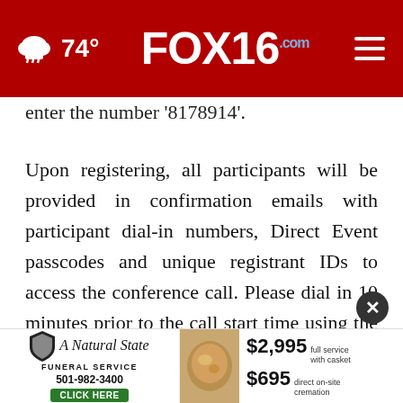74° FOX16.com
enter the number ‘8178914’.
Upon registering, all participants will be provided in confirmation emails with participant dial-in numbers, Direct Event passcodes and unique registrant IDs to access the conference call. Please dial in 10 minutes prior to the call start time using the conference access information.
A telephone replay will be available after the concl[uded] 9:59